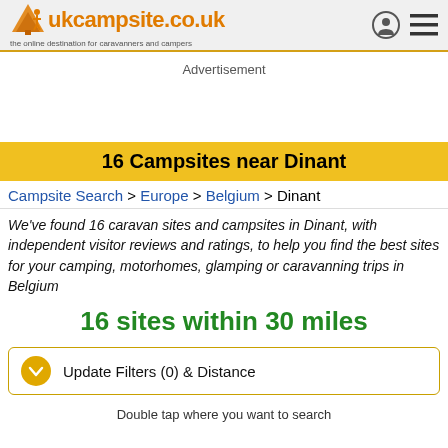ukcampsite.co.uk — the online destination for caravanners and campers
Advertisement
16 Campsites near Dinant
Campsite Search > Europe > Belgium > Dinant
We've found 16 caravan sites and campsites in Dinant, with independent visitor reviews and ratings, to help you find the best sites for your camping, motorhomes, glamping or caravanning trips in Belgium
16 sites within 30 miles
Update Filters (0) & Distance
Double tap where you want to search